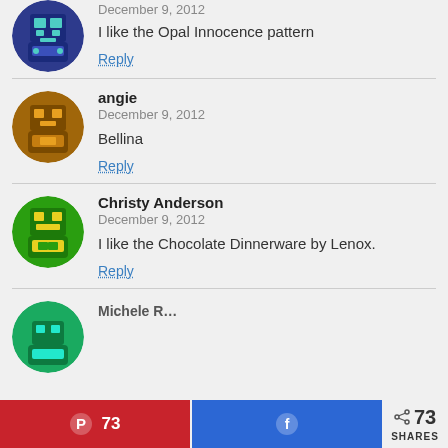[Figure (illustration): Partial avatar (blue/teal pixel art icon) at top, cropped]
December 9, 2012
I like the Opal Innocence pattern
Reply
[Figure (illustration): Avatar for angie - brown/orange pixel art robot icon]
angie
December 9, 2012
Bellina
Reply
[Figure (illustration): Avatar for Christy Anderson - green/yellow pixel art robot icon]
Christy Anderson
December 9, 2012
I like the Chocolate Dinnerware by Lenox.
Reply
[Figure (illustration): Partial avatar at bottom, green/teal, cropped]
Michele R...
73  [Pinterest]  [Facebook]  < 73 SHARES